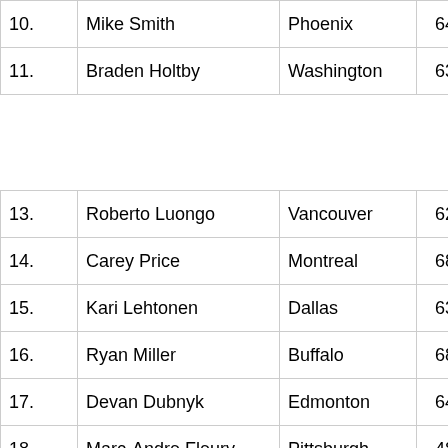| # | Name | Team | GP | W |
| --- | --- | --- | --- | --- |
| 10. | Mike Smith | Phoenix | 64 | 33 |
| 11. | Braden Holtby | Washington | 63 | 36 |
|  |  |  |  |  |
| 13. | Roberto Luongo | Vancouver | 62 | 34 |
| 14. | Carey Price | Montreal | 68 | 33 |
| 15. | Kari Lehtonen | Dallas | 63 | 31 |
| 16. | Ryan Miller | Buffalo | 68 | 31 |
| 17. | Devan Dubnyk | Edmonton | 64 | 30 |
| 18. | Marc-Andre Fleury | Pittsburgh | 48 | 30 |
| 19. | Brian Elliott | St. Louis | 43 | 25 |
| 20. | Evgeni Nabokov | N.Y. Islanders | 60 | 30 |
| 21. | Jonathan Bernier | Toronto | 50 | 24 |